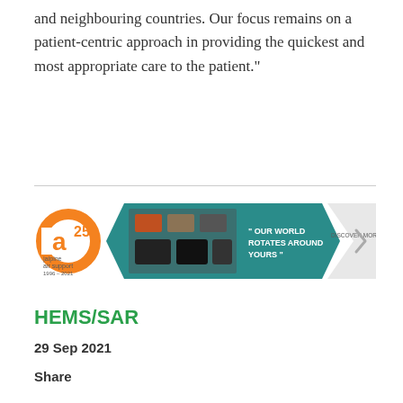and neighbouring countries. Our focus remains on a patient-centric approach in providing the quickest and most appropriate care to the patient."
[Figure (infographic): Alpine Air Support 25th anniversary advertisement banner showing company logo, aviation/transport equipment images, and the tagline 'OUR WORLD ROTATES AROUND YOURS' with a 'DISCOVER MORE' call to action arrow.]
HEMS/SAR
29 Sep 2021
Share